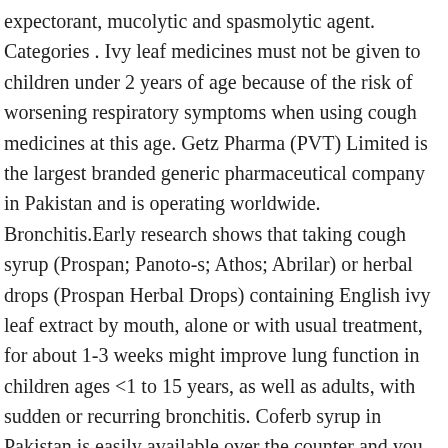expectorant, mucolytic and spasmolytic agent. Categories . Ivy leaf medicines must not be given to children under 2 years of age because of the risk of worsening respiratory symptoms when using cough medicines at this age. Getz Pharma (PVT) Limited is the largest branded generic pharmaceutical company in Pakistan and is operating worldwide. Bronchitis.Early research shows that taking cough syrup (Prospan; Panoto-s; Athos; Abrilar) or herbal drops (Prospan Herbal Drops) containing English ivy leaf extract by mouth, alone or with usual treatment, for about 1-3 weeks might improve lung function in children ages <1 to 15 years, as well as adults, with sudden or recurring bronchitis. Coferb syrup in Pakistan is easily available over the counter and you can also buy it online from our page. Supports and strengthens healthy lung function. It has steadily grown through manufacturing and marketing products under licensing arrangements with many companies of international repute and also through